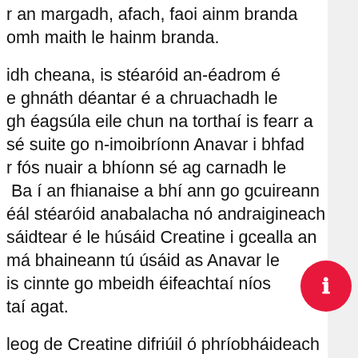r an margadh, afach, faoi ainm branda
omh maith le hainm branda.
idh cheana, is stéaróid an-éadrom é
e ghnáth déantar é a chruachadh le
gh éagsúla eile chun na torthaí is fearr a
sé suite go n-imoibríonn Anavar i bhfad
r fós nuair a bhíonn sé ag carnadh le
Ba í an fhianaise a bhí ann go gcuireann
éál stéaróid anabalacha nó andraigineach
sáidtear é le húsáid Creatine i gcealla an
má bhaineann tú úsáid as Anavar le
is cinnte go mbeidh éifeachtaí níos
taí agat.
leog de Creatine difriúil ó phríobháideach
náideach. Moltar duit 12 – 20 gram a
aghaidh an lae le haghaidh timthriall
a agus freisin 4 – 12 gram in aghaidh an lae